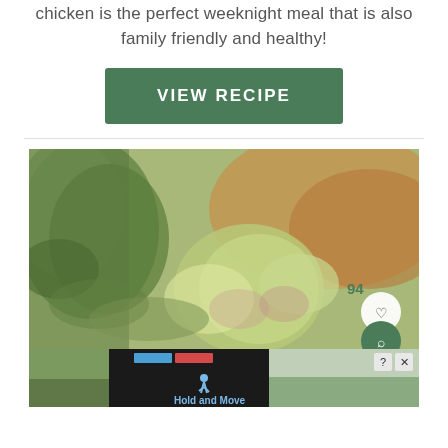chicken is the perfect weeknight meal that is also family friendly and healthy!
[Figure (other): Green VIEW RECIPE button with white bold text]
[Figure (photo): Close-up photo of artichokes and garlic with a heart/favorite button (94 count) and a green search button overlay]
[Figure (screenshot): Ad bar at the bottom showing Hold and Move app advertisement with thumbnails of trees/outdoor scenes and close buttons]